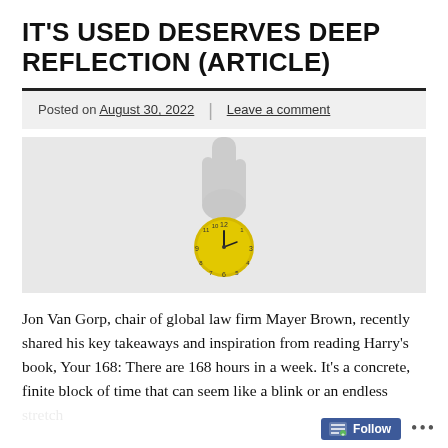IT'S USED DESERVES DEEP REFLECTION (ARTICLE)
Posted on August 30, 2022 | Leave a comment
[Figure (photo): A hand holding a small yellow analog clock against a gray background]
Jon Van Gorp, chair of global law firm Mayer Brown, recently shared his key takeaways and inspiration from reading Harry's book, Your 168: There are 168 hours in a week. It's a concrete, finite block of time that can seem like a blink or an endless stretch